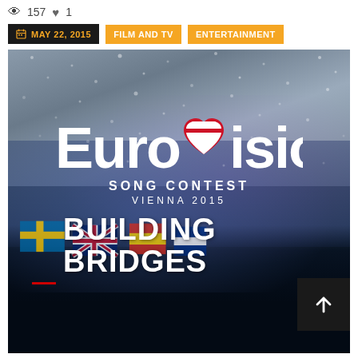👁 157 ♥ 1
MAY 22, 2015 | FILM AND TV | ENTERTAINMENT
[Figure (photo): Eurovision Song Contest Vienna 2015 'Building Bridges' promotional image with crowd and flags in background]